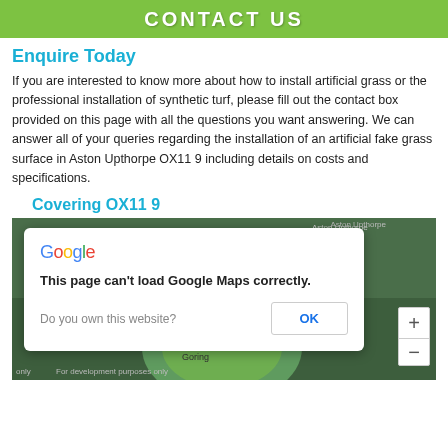CONTACT US
Enquire Today
If you are interested to know more about how to install artificial grass or the professional installation of synthetic turf, please fill out the contact box provided on this page with all the questions you want answering. We can answer all of your queries regarding the installation of an artificial fake grass surface in Aston Upthorpe OX11 9 including details on costs and specifications.
Covering OX11 9
[Figure (screenshot): Google Maps embed showing a dialog: 'This page can't load Google Maps correctly.' with an OK button and 'Do you own this website?' text. Map background shows green area with 'Goring' label and 'For development purposes only' watermark.]